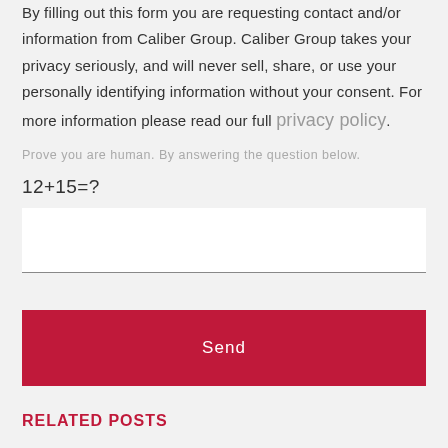By filling out this form you are requesting contact and/or information from Caliber Group. Caliber Group takes your privacy seriously, and will never sell, share, or use your personally identifying information without your consent. For more information please read our full privacy policy.
Prove you are human. By answering the question below.
12+15=?
Send
RELATED POSTS